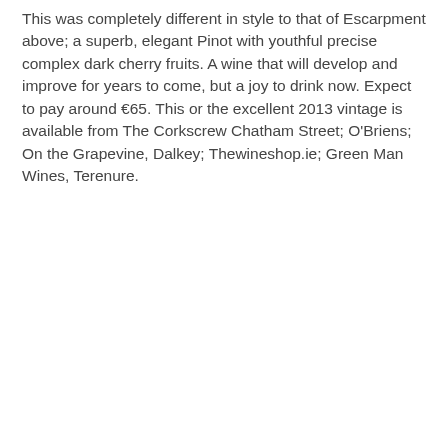This was completely different in style to that of Escarpment above; a superb, elegant Pinot with youthful precise complex dark cherry fruits. A wine that will develop and improve for years to come, but a joy to drink now. Expect to pay around €65. This or the excellent 2013 vintage is available from The Corkscrew Chatham Street; O'Briens; On the Grapevine, Dalkey; Thewineshop.ie; Green Man Wines, Terenure.